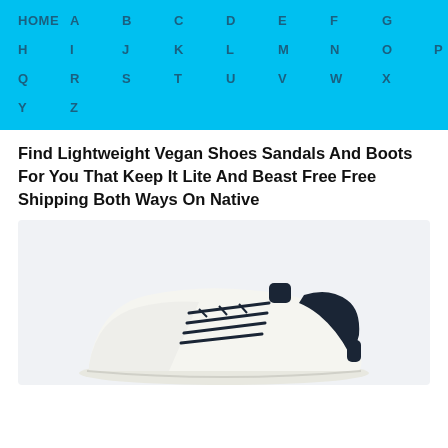HOME A B C D E F G H I J K L M N O P Q R S T U V W X Y Z
Find Lightweight Vegan Shoes Sandals And Boots For You That Keep It Lite And Beast Free Free Shipping Both Ways On Native
[Figure (photo): A white/off-white low-top sneaker with dark navy/black laces and collar, shown from the side on a light gray background.]